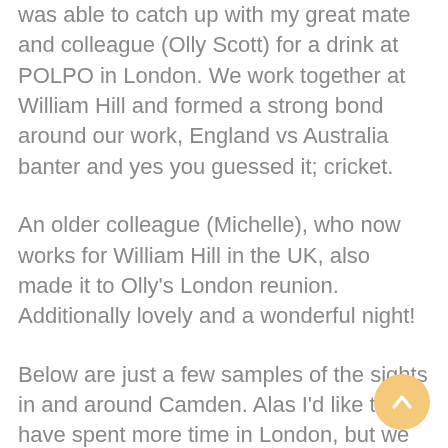was able to catch up with my great mate and colleague (Olly Scott) for a drink at POLPO in London. We work together at William Hill and formed a strong bond around our work, England vs Australia banter and yes you guessed it; cricket.
An older colleague (Michelle), who now works for William Hill in the UK, also made it to Olly's London reunion. Additionally lovely and a wonderful night!
Below are just a few samples of the sights in and around Camden. Alas I'd like to have spent more time in London, but we were quickly departing for Scotland in a couple